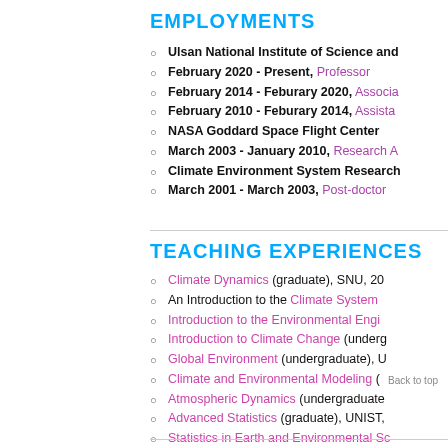EMPLOYMENTS
Ulsan National Institute of Science and
February 2020 - Present, Professor
February 2014 - Feburary 2020, Associate
February 2010 - Feburary 2014, Assistant
NASA Goddard Space Flight Center
March 2003 - January 2010, Research A
Climate Environment System Research
March 2001 - March 2003, Post-doctor
TEACHING EXPERIENCES
Climate Dynamics (graduate), SNU, 20
An Introduction to the Climate System
Introduction to the Environmental Engi
Introduction to Climate Change (undergr
Global Environment (undergraduate), U
Climate and Environmental Modeling (
Atmospheric Dynamics (undergraduate
Advanced Statistics (graduate), UNIST,
Statistics in Earth and Environmental Sc
Tropical Meteorology (graduate), UNIS